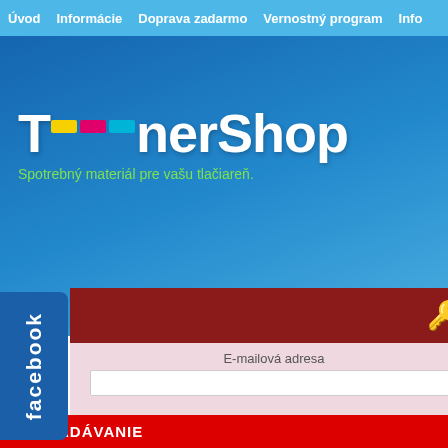Úvod   Informácie   Doprava zadarmo   Vernostný program   Info
[Figure (logo): TonerShop logo with colored ink blocks (yellow, magenta, cyan) above the 'o' characters, white bold text on blue gradient background, subtitle: Spotrebný materiál pre vašu tlačiareň.]
[Figure (other): Facebook vertical side button in dark blue with text 'facebook' rotated vertically]
Úvod » Antrament bulk » Atrament HP
Atrament HP   Počet produktov v kategórii: 36
[Figure (screenshot): Partial product thumbnail image, blue and white tones]
E-mailová adresa
Heslo
Prihlásenie
Obnova hesla
Vytvoriť nový účet
VYHĽADÁVANIE